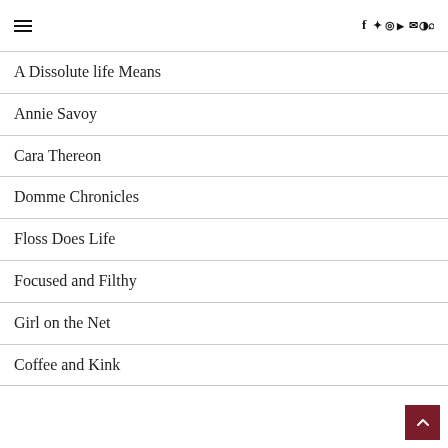≡  f  twitter  instagram  youtube  mail  rss  search
A Dissolute life Means
Annie Savoy
Cara Thereon
Domme Chronicles
Floss Does Life
Focused and Filthy
Girl on the Net
Coffee and Kink